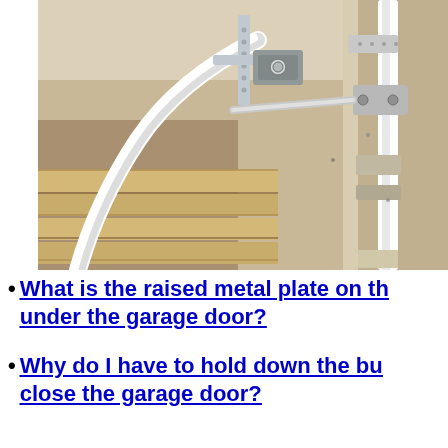[Figure (photo): Interior photo of a garage door mechanism showing curved white metal track/rail, wooden door panels, metal brackets and hardware including perforated metal straps and hinges mounted on what appears to be a wall/ceiling area near the garage door opening.]
What is the raised metal plate on the under the garage door?
Why do I have to hold down the button to close the garage door?